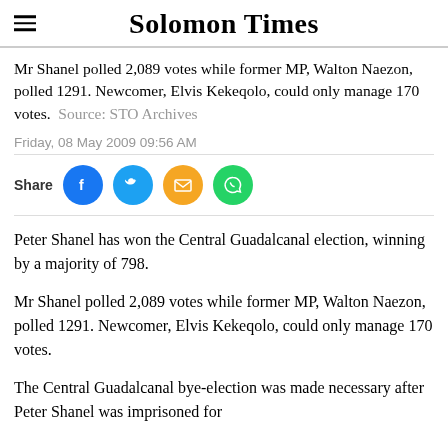Solomon Times
Mr Shanel polled 2,089 votes while former MP, Walton Naezon, polled 1291. Newcomer, Elvis Kekeqolo, could only manage 170 votes. Source: STO Archives
Friday, 08 May 2009 09:56 AM
[Figure (infographic): Share buttons row: Facebook (blue), Twitter (blue), Email (orange), WhatsApp (green)]
Peter Shanel has won the Central Guadalcanal election, winning by a majority of 798.
Mr Shanel polled 2,089 votes while former MP, Walton Naezon, polled 1291. Newcomer, Elvis Kekeqolo, could only manage 170 votes.
The Central Guadalcanal bye-election was made necessary after Peter Shanel was imprisoned for